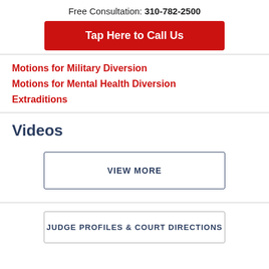Free Consultation: 310-782-2500
Tap Here to Call Us
Motions for Military Diversion
Motions for Mental Health Diversion
Extraditions
Videos
VIEW MORE
JUDGE PROFILES & COURT DIRECTIONS